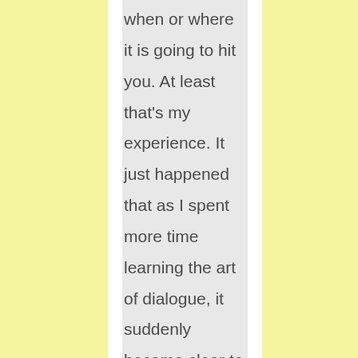when or where it is going to hit you. At least that's my experience. It just happened that as I spent more time learning the art of dialogue, it suddenly became clear to me that it is only possible to have real dialogue if we recognize and respect this fact that